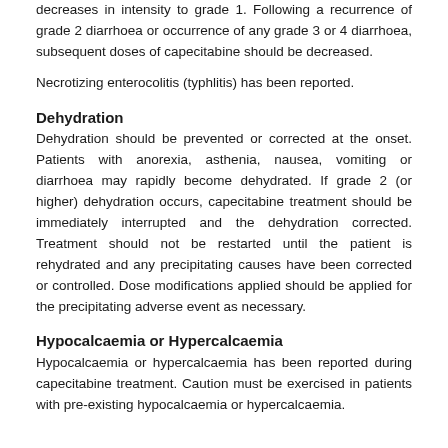decreases in intensity to grade 1. Following a recurrence of grade 2 diarrhoea or occurrence of any grade 3 or 4 diarrhoea, subsequent doses of capecitabine should be decreased.
Necrotizing enterocolitis (typhlitis) has been reported.
Dehydration
Dehydration should be prevented or corrected at the onset. Patients with anorexia, asthenia, nausea, vomiting or diarrhoea may rapidly become dehydrated. If grade 2 (or higher) dehydration occurs, capecitabine treatment should be immediately interrupted and the dehydration corrected. Treatment should not be restarted until the patient is rehydrated and any precipitating causes have been corrected or controlled. Dose modifications applied should be applied for the precipitating adverse event as necessary.
Hypocalcaemia or Hypercalcaemia
Hypocalcaemia or hypercalcaemia has been reported during capecitabine treatment. Caution must be exercised in patients with pre-existing hypocalcaemia or hypercalcaemia.